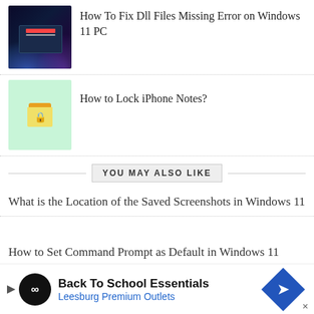[Figure (screenshot): Dark Windows 11 desktop with a DLL error dialog box, blue and purple glow effects]
How To Fix Dll Files Missing Error on Windows 11 PC
[Figure (screenshot): Light green background with a locked notes icon (yellow note with padlock)]
How to Lock iPhone Notes?
YOU MAY ALSO LIKE
What is the Location of the Saved Screenshots in Windows 11
How to Set Command Prompt as Default in Windows 11 Terminal?
[Figure (infographic): Advertisement banner: Back To School Essentials - Leesburg Premium Outlets]
How